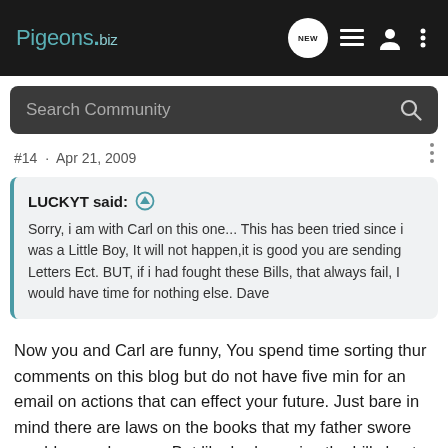Pigeons.biz
Search Community
#14 · Apr 21, 2009
LUCKYT said: ↑
Sorry, i am with Carl on this one... This has been tried since i was a Little Boy, It will not happen,it is good you are sending Letters Ect. BUT, if i had fought these Bills, that always fail, I would have time for nothing else. Dave
Now you and Carl are funny, You spend time sorting thur comments on this blog but do not have five min for an email on actions that can effect your future. Just bare in mind there are laws on the books that my father swore would never happen. But like bad pennies the bills kept coming back up until one day they passed. The problem with laws is once passed they're hard to get rid of.